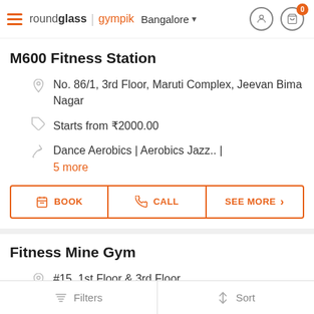roundglass | gympik  Bangalore
M600 Fitness Station
No. 86/1, 3rd Floor, Maruti Complex, Jeevan Bima Nagar
Starts from ₹2000.00
Dance Aerobics | Aerobics Jazz.. | 5 more
BOOK  CALL  SEE MORE
Fitness Mine Gym
#15, 1st Floor & 3rd Floor,
Filters  Sort